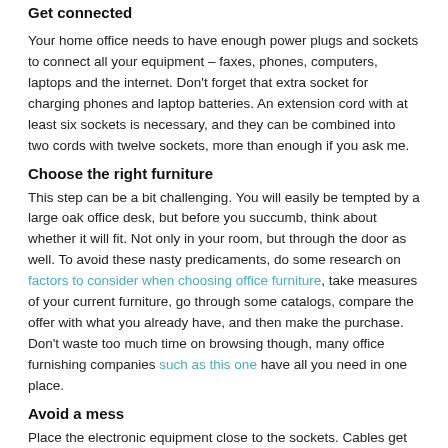Get connected
Your home office needs to have enough power plugs and sockets to connect all your equipment – faxes, phones, computers, laptops and the internet. Don't forget that extra socket for charging phones and laptop batteries. An extension cord with at least six sockets is necessary, and they can be combined into two cords with twelve sockets, more than enough if you ask me.
Choose the right furniture
This step can be a bit challenging. You will easily be tempted by a large oak office desk, but before you succumb, think about whether it will fit. Not only in your room, but through the door as well. To avoid these nasty predicaments, do some research on factors to consider when choosing office furniture, take measures of your current furniture, go through some catalogs, compare the offer with what you already have, and then make the purchase. Don't waste too much time on browsing though, many office furnishing companies such as this one have all you need in one place.
Avoid a mess
Place the electronic equipment close to the sockets. Cables get tangled easily, which looks like a mess and you can even trip on